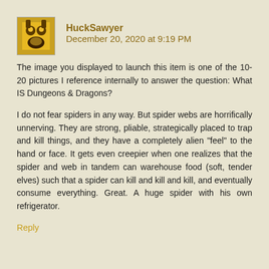HuckSawyer December 20, 2020 at 9:19 PM
The image you displayed to launch this item is one of the 10-20 pictures I reference internally to answer the question: What IS Dungeons & Dragons?
I do not fear spiders in any way. But spider webs are horrifically unnerving. They are strong, pliable, strategically placed to trap and kill things, and they have a completely alien "feel" to the hand or face. It gets even creepier when one realizes that the spider and web in tandem can warehouse food (soft, tender elves) such that a spider can kill and kill and kill, and eventually consume everything. Great. A huge spider with his own refrigerator.
Reply